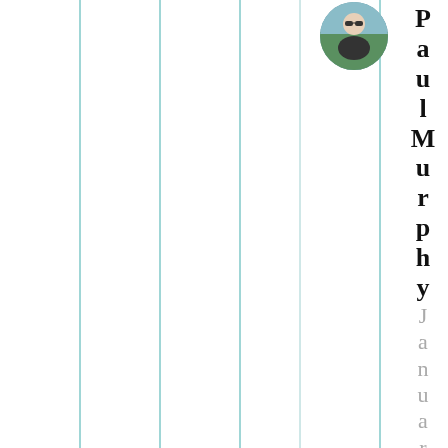[Figure (photo): Circular profile photo of Paul Murphy, a man wearing sunglasses outdoors]
Paul Murphy
Januar